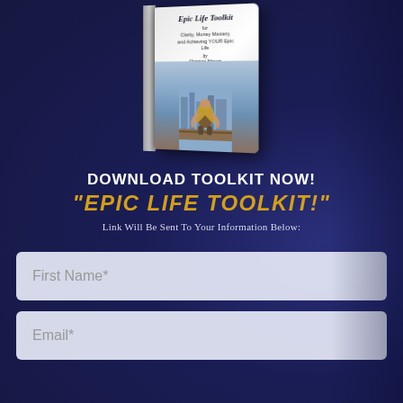[Figure (illustration): Book cover for 'Epic Life Toolkit' showing a woman sitting on a ledge looking at a cityscape, with the title and subtitle visible on the cover]
DOWNLOAD TOOLKIT NOW!
"EPIC LIFE TOOLKIT!"
Link Will Be Sent To Your Information Below:
First Name*
Email*